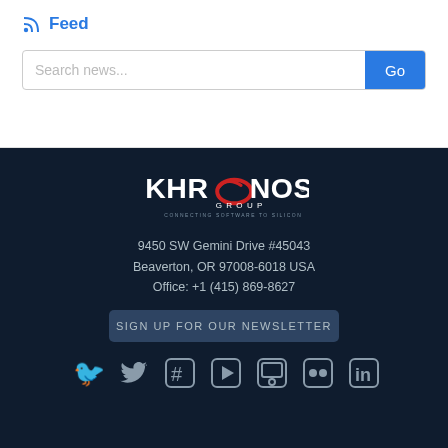Feed
Search news... Go
[Figure (logo): Khronos Group logo with red swoosh O, white text, and tagline CONNECTING SOFTWARE TO SILICON]
9450 SW Gemini Drive #45043
Beaverton, OR 97008-6018 USA
Office: +1 (415) 869-8627
SIGN UP FOR OUR NEWSLETTER
[Figure (illustration): Row of social media icons: Twitter, hashtag/Diaspora, YouTube, Slideshare, Flickr, LinkedIn]